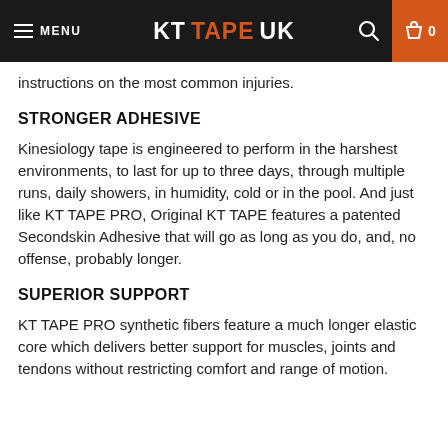MENU | KT TAPE UK | 0
instructions on the most common injuries.
STRONGER ADHESIVE
Kinesiology tape is engineered to perform in the harshest environments, to last for up to three days, through multiple runs, daily showers, in humidity, cold or in the pool. And just like KT TAPE PRO, Original KT TAPE features a patented Secondskin Adhesive that will go as long as you do, and, no offense, probably longer.
SUPERIOR SUPPORT
KT TAPE PRO synthetic fibers feature a much longer elastic core which delivers better support for muscles, joints and tendons without restricting comfort and range of motion.